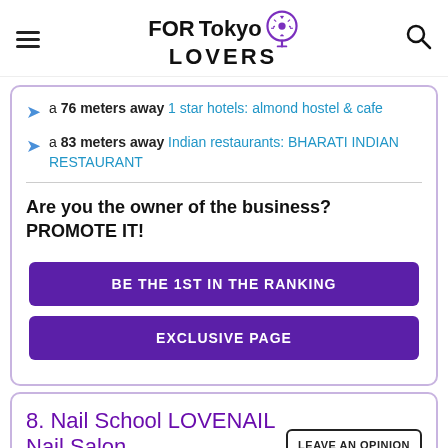FOR Tokyo LOVERS
a 76 meters away 1 star hotels: almond hostel & cafe
a 83 meters away Indian restaurants: BHARATI INDIAN RESTAURANT
Are you the owner of the business? PROMOTE IT!
BE THE 1ST IN THE RANKING
EXCLUSIVE PAGE
8. Nail School LOVENAIL Nail Salon
LEAVE AN OPINION